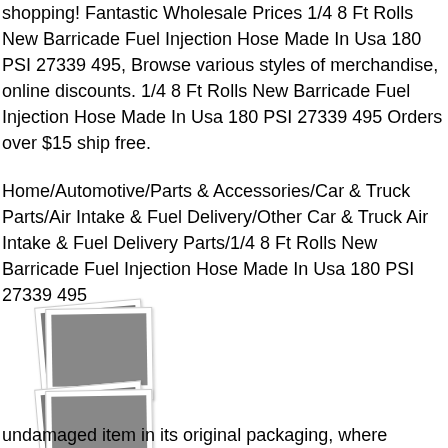shopping! Fantastic Wholesale Prices 1/4 8 Ft Rolls New Barricade Fuel Injection Hose Made In Usa 180 PSI 27339 495, Browse various styles of merchandise, online discounts. 1/4 8 Ft Rolls New Barricade Fuel Injection Hose Made In Usa 180 PSI 27339 495 Orders over $15 ship free.
Home/Automotive/Parts & Accessories/Car & Truck Parts/Air Intake & Fuel Delivery/Other Car & Truck Air Intake & Fuel Delivery Parts/1/4 8 Ft Rolls New Barricade Fuel Injection Hose Made In Usa 180 PSI 27339 495
[Figure (photo): Placeholder polaroid-style photo thumbnail (image not loaded)]
[Figure (photo): Placeholder polaroid-style photo thumbnail (image not loaded)]
undamaged item in its original packaging, where packaging is